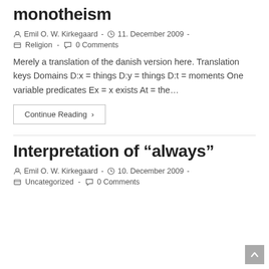monotheism
Emil O. W. Kirkegaard  -  11. December 2009  -  Religion  -  0 Comments
Merely a translation of the danish version here. Translation keys Domains D:x = things D:y = things D:t = moments One variable predicates Ex = x exists At = the…
Continue Reading ›
Interpretation of “always”
Emil O. W. Kirkegaard  -  10. December 2009  -  Uncategorized  -  0 Comments